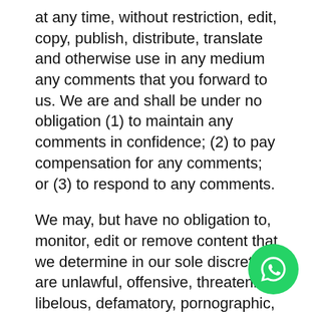at any time, without restriction, edit, copy, publish, distribute, translate and otherwise use in any medium any comments that you forward to us. We are and shall be under no obligation (1) to maintain any comments in confidence; (2) to pay compensation for any comments; or (3) to respond to any comments.
We may, but have no obligation to, monitor, edit or remove content that we determine in our sole discretion are unlawful, offensive, threatening, libelous, defamatory, pornographic, obscene or otherwise objectionable or violates any party's intellectual property or these Terms of Service.
You agree that your comments will not violate any right of any third-party, including copyright, trademark, privacy, personality or other personal or proprietary right. You further agree that your comments will not contain lib or otherwise unlawful, abusive or obscene material, or